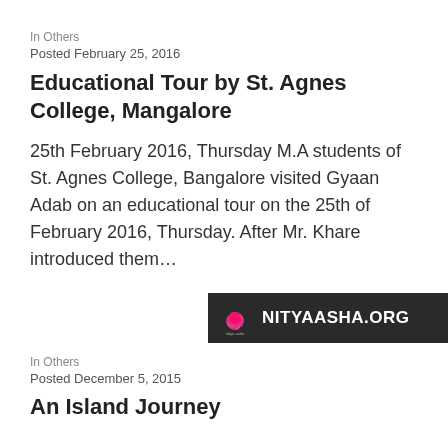In Others
Posted February 25, 2016
Educational Tour by St. Agnes College, Mangalore
25th February 2016, Thursday M.A students of St. Agnes College, Bangalore visited Gyaan Adab on an educational tour on the 25th of February 2016, Thursday. After Mr. Khare introduced them…
[Figure (logo): Nityaasha.org logo with lotus flower on dark background]
In Others
Posted December 5, 2015
An Island Journey